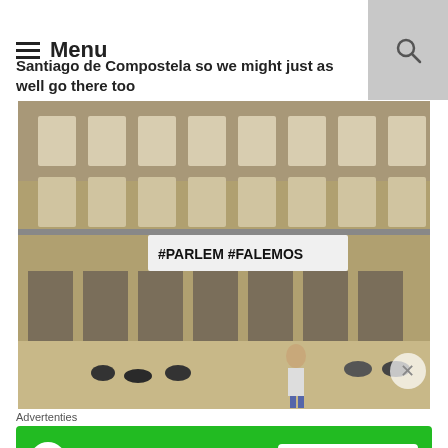Menu
Santiago de Compostela so we might just as well go there too
[Figure (photo): A large stone building facade in Santiago de Compostela plaza. A white banner reading '#PARLEM #FALEMOS' is hung from a balcony. Several people are sitting on the cobblestone square in front, and a woman in a beige coat walks nearby.]
Advertenties
[Figure (other): Jetpack advertisement banner with green background. Shows Jetpack logo on left and 'Back up your site' button on right.]